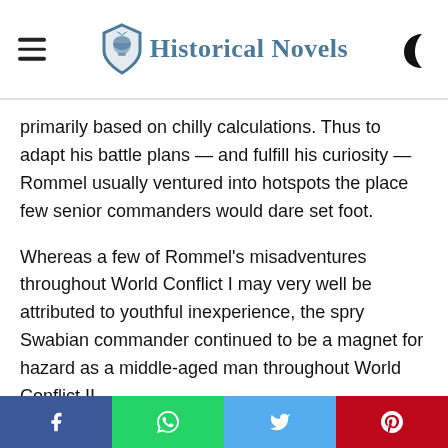Historical Novels
primarily based on chilly calculations. Thus to adapt his battle plans — and fulfill his curiosity — Rommel usually ventured into hotspots the place few senior commanders would dare set foot.
Whereas a few of Rommel's misadventures throughout World Conflict I may very well be attributed to youthful inexperience, the spry Swabian commander continued to be a magnet for hazard as a middle-aged man throughout World Conflict II.
f  WhatsApp  Twitter  Pinterest